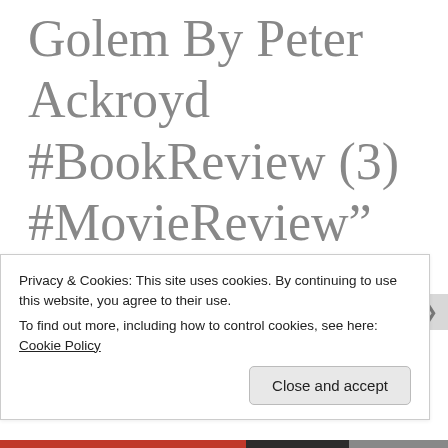Golem By Peter Ackroyd #BookReview (3) #MovieReview”
yvonnembee
15/12/2018 AT 1:00 PM
Privacy & Cookies: This site uses cookies. By continuing to use this website, you agree to their use.
To find out more, including how to control cookies, see here: Cookie Policy
Close and accept